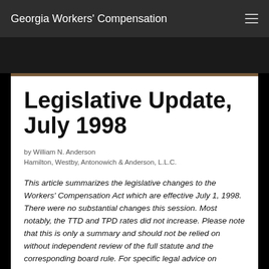Georgia Workers' Compensation
Legislative Update, July 1998
by William N. Anderson
Hamilton, Westby, Antonowich & Anderson, L.L.C.
This article summarizes the legislative changes to the Workers' Compensation Act which are effective July 1, 1998. There were no substantial changes this session. Most notably, the TTD and TPD rates did not increase. Please note that this is only a summary and should not be relied on without independent review of the full statute and the corresponding board rule. For specific legal advice on